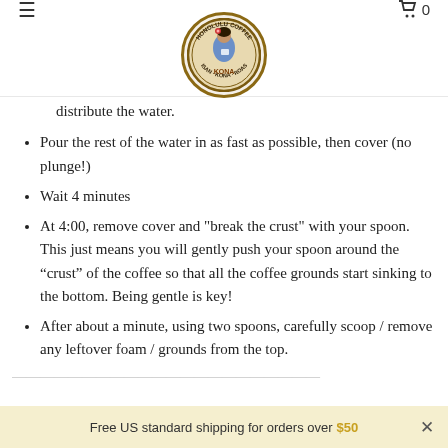Honolulu Coffee – navigation bar with logo
distribute the water.
Pour the rest of the water in as fast as possible, then cover (no plunge!)
Wait 4 minutes
At 4:00, remove cover and "break the crust" with your spoon. This just means you will gently push your spoon around the “crust” of the coffee so that all the coffee grounds start sinking to the bottom. Being gentle is key!
After about a minute, using two spoons, carefully scoop / remove any leftover foam / grounds from the top.
Free US standard shipping for orders over $50  ×